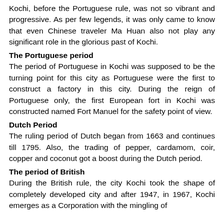Kochi, before the Portuguese rule, was not so vibrant and progressive. As per few legends, it was only came to know that even Chinese traveler Ma Huan also not play any significant role in the glorious past of Kochi.
The Portuguese period
The period of Portuguese in Kochi was supposed to be the turning point for this city as Portuguese were the first to construct a factory in this city. During the reign of Portuguese only, the first European fort in Kochi was constructed named Fort Manuel for the safety point of view.
Dutch Period
The ruling period of Dutch began from 1663 and continues till 1795. Also, the trading of pepper, cardamom, coir, copper and coconut got a boost during the Dutch period.
The period of British
During the British rule, the city Kochi took the shape of completely developed city and after 1947, in 1967, Kochi emerges as a Corporation with the mingling of